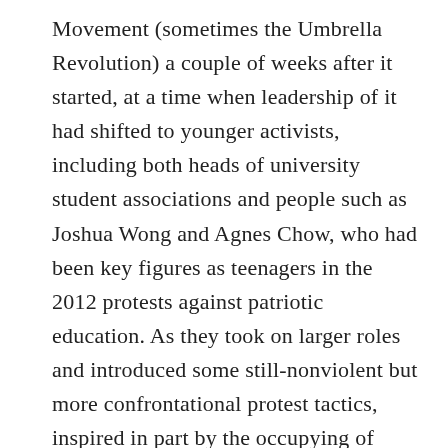Movement (sometimes the Umbrella Revolution) a couple of weeks after it started, at a time when leadership of it had shifted to younger activists, including both heads of university student associations and people such as Joshua Wong and Agnes Chow, who had been key figures as teenagers in the 2012 protests against patriotic education. As they took on larger roles and introduced some still-nonviolent but more confrontational protest tactics, inspired in part by the occupying of government buildings across the straits by participants in Taiwan's Sunflower Movement of early 2014, and as the police took stronger steps against the activists, the struggle became one that was as much a defense